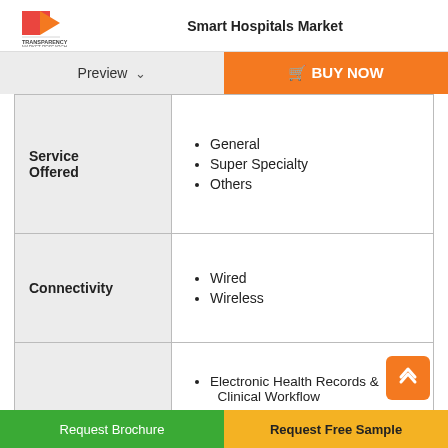Smart Hospitals Market
Preview  ▾   🛒  BUY NOW
| Category | Items |
| --- | --- |
| Service Offered | General; Super Specialty; Others |
| Connectivity | Wired; Wireless |
| Application | Electronic Health Records & Clinical Workflow; Medical Assistance; Medical Connected Imaging |
Request Brochure    Request Free Sample